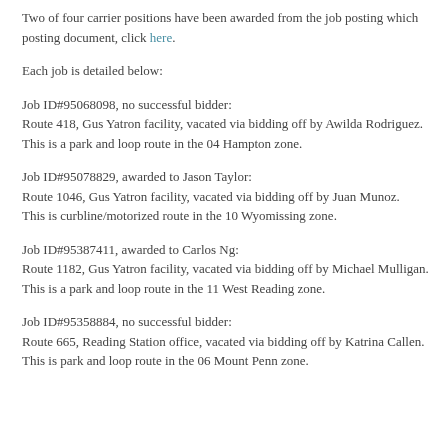Two of four carrier positions have been awarded from the job posting which posting document, click here.
Each job is detailed below:
Job ID#95068098, no successful bidder:
Route 418, Gus Yatron facility, vacated via bidding off by Awilda Rodriguez.
This is a park and loop route in the 04 Hampton zone.
Job ID#95078829, awarded to Jason Taylor:
Route 1046, Gus Yatron facility, vacated via bidding off by Juan Munoz.
This is curbline/motorized route in the 10 Wyomissing zone.
Job ID#95387411, awarded to Carlos Ng:
Route 1182, Gus Yatron facility, vacated via bidding off by Michael Mulligan.
This is a park and loop route in the 11 West Reading zone.
Job ID#95358884, no successful bidder:
Route 665, Reading Station office, vacated via bidding off by Katrina Callen.
This is park and loop route in the 06 Mount Penn zone.